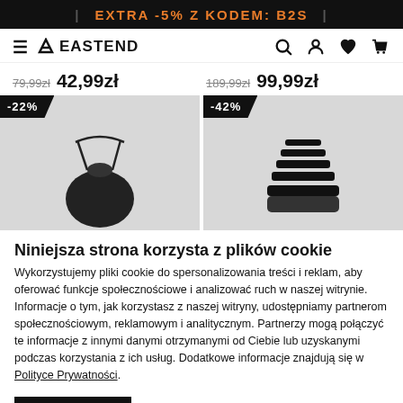EXTRA -5% Z KODEM: B2S
[Figure (logo): Eastend store logo with hamburger menu and navigation icons (search, account, wishlist, cart)]
79,99zł 42,99zł | 189,99zł 99,99zł
[Figure (photo): Two product cards side by side. Left card shows a dark drawstring bag on grey background with -22% discount badge. Right card shows dark striped sandals on grey background with -42% discount badge.]
Niniejsza strona korzysta z plików cookie
Wykorzystujemy pliki cookie do spersonalizowania treści i reklam, aby oferować funkcje społecznościowe i analizować ruch w naszej witrynie. Informacje o tym, jak korzystasz z naszej witryny, udostępniamy partnerom społecznościowym, reklamowym i analitycznym. Partnerzy mogą połączyć te informacje z innymi danymi otrzymanymi od Ciebie lub uzyskanymi podczas korzystania z ich usług. Dodatkowe informacje znajdują się w Polityce Prywatności.
OK | Pokaż szczegóły